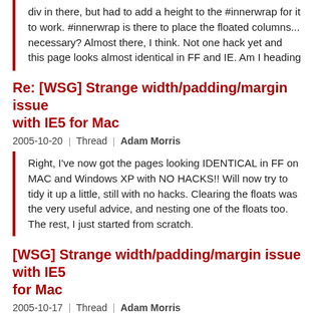div in there, but had to add a height to the #innerwrap for it to work. #innerwrap is there to place the floated columns... necessary? Almost there, I think. Not one hack yet and this page looks almost identical in FF and IE. Am I heading
Re: [WSG] Strange width/padding/margin issue with IE5 for Mac
2005-10-20 | Thread | Adam Morris
Right, I've now got the pages looking IDENTICAL in FF on MAC and Windows XP with NO HACKS!! Will now try to tidy it up a little, still with no hacks. Clearing the floats was the very useful advice, and nesting one of the floats too. The rest, I just started from scratch.
[WSG] Strange width/padding/margin issue with IE5 for Mac
2005-10-17 | Thread | Adam Morris
For some strange reason, the only way I can get this block of text to behave in Mac IE is by putting a block element at the top of it! i.e. I can tame its width by sticking an h5 title on the top. In the block of text, everything before a list stretched and ignored my instructions. But, after a